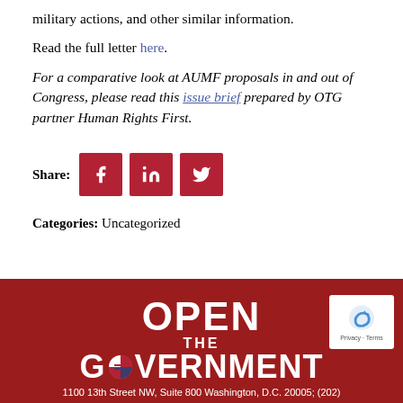military actions, and other similar information.
Read the full letter here.
For a comparative look at AUMF proposals in and out of Congress, please read this issue brief prepared by OTG partner Human Rights First.
[Figure (other): Share buttons for Facebook, LinkedIn, and Twitter]
Categories: Uncategorized
[Figure (logo): Open The Government logo with address footer: 1100 13th Street NW, Suite 800 Washington, D.C. 20005; (202)]